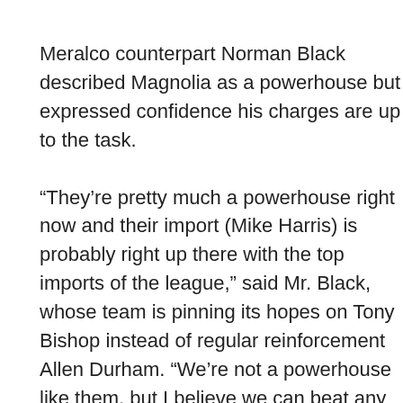Meralco counterpart Norman Black described Magnolia as a powerhouse but expressed confidence his charges are up to the task.
“They’re pretty much a powerhouse right now and their import (Mike Harris) is probably right up there with the top imports of the league,” said Mr. Black, whose team is pinning its hopes on Tony Bishop instead of regular reinforcement Allen Durham. “We’re not a powerhouse like them, but I believe we can beat any team on any night.”
While NLEX mentor Yeng Guiao claimed the underdog tag for his “greener” troops, Ginebra’s Tim Cone believes the Road Warriors are not to be underestimated.